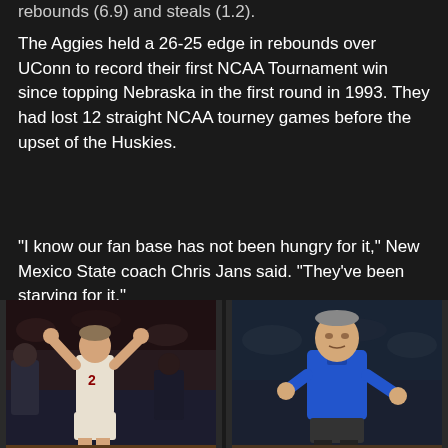rebounds (6.9) and steals (1.2).
The Aggies held a 26-25 edge in rebounds over UConn to record their first NCAA Tournament win since topping Nebraska in the first round in 1993. They had lost 12 straight NCAA tourney games before the upset of the Huskies.
“I know our fan base has not been hungry for it,” New Mexico State coach Chris Jans said. “They’ve been starving for it.”
[Figure (photo): Basketball player wearing jersey number 2 with arms raised in celebration, crowd visible in background]
[Figure (photo): Coach in blue shirt standing on sideline, pointing with one finger]